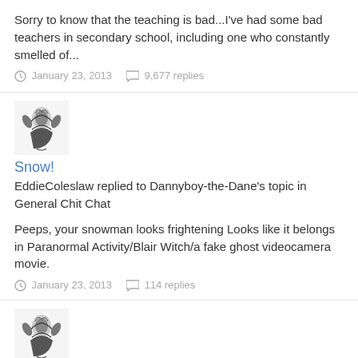Sorry to know that the teaching is bad...I've had some bad teachers in secondary school, including one who constantly smelled of...
January 23, 2013   9,677 replies
[Figure (illustration): Avatar image: black and white illustrated figure with floral/decorative elements]
Snow!
EddieColeslaw replied to Dannyboy-the-Dane's topic in General Chit Chat
Peeps, your snowman looks frightening Looks like it belongs in Paranormal Activity/Blair Witch/a fake ghost videocamera movie.
January 23, 2013   114 replies
[Figure (illustration): Avatar image: black and white illustrated figure with floral/decorative elements]
bad stuff thread.
EddieColeslaw replied to tapedeck's topic in General Chit Chat